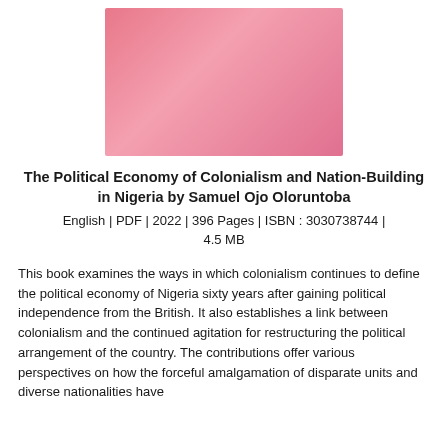[Figure (illustration): Book cover image with pink/rose gradient background]
The Political Economy of Colonialism and Nation-Building in Nigeria by Samuel Ojo Oloruntoba
English | PDF | 2022 | 396 Pages | ISBN : 3030738744 | 4.5 MB
This book examines the ways in which colonialism continues to define the political economy of Nigeria sixty years after gaining political independence from the British. It also establishes a link between colonialism and the continued agitation for restructuring the political arrangement of the country. The contributions offer various perspectives on how the forceful amalgamation of disparate units and diverse nationalities have